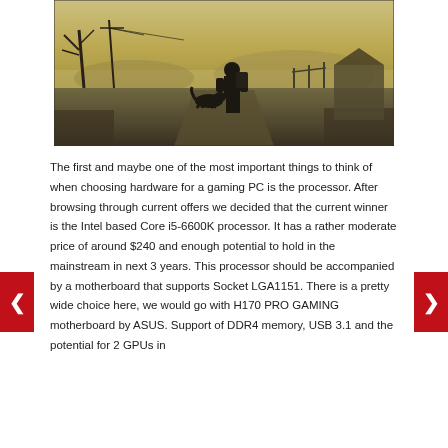[Figure (photo): Post-apocalyptic scene from a video game (Fallout 3/4) showing a lone armored warrior figure walking alongside a dog through a destroyed wasteland with dead trees, power lines, and foggy yellowish sky.]
The first and maybe one of the most important things to think of when choosing hardware for a gaming PC is the processor. After browsing through current offers we decided that the current winner is the Intel based Core i5-6600K processor. It has a rather moderate price of around $240 and enough potential to hold in the mainstream in next 3 years. This processor should be accompanied by a motherboard that supports Socket LGA1151. There is a pretty wide choice here, we would go with H170 PRO GAMING motherboard by ASUS. Support of DDR4 memory, USB 3.1 and the potential for 2 GPUs in